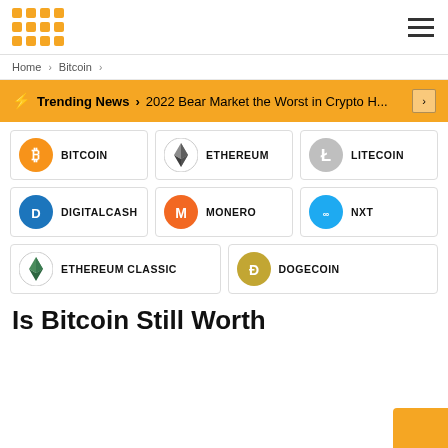Logo and navigation header
Home > Bitcoin >
⚡ Trending News > 2022 Bear Market the Worst in Crypto H...
[Figure (infographic): Grid of cryptocurrency logos: Bitcoin, Ethereum, Litecoin, DigitalCash, Monero, NXT, Ethereum Classic, Dogecoin]
Is Bitcoin Still Worth